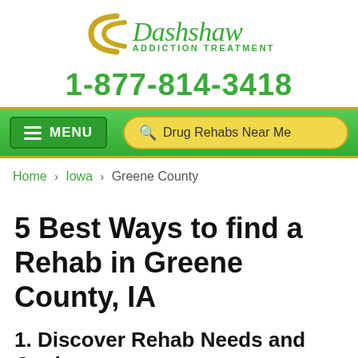[Figure (logo): Dashshaw Addiction Treatment logo with golden swoosh arcs and green italic text]
1-877-814-3418
[Figure (infographic): Green navigation bar with MENU button on left and 'Drug Rehabs Near Me' search box on right]
Home › Iowa › Greene County
5 Best Ways to find a Rehab in Greene County, IA
1. Discover Rehab Needs and Goals
Each addiction treatment program in Greene County